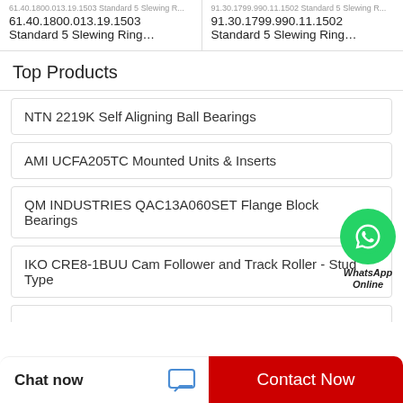61.40.1800.013.19.1503 Standard 5 Slewing Ring…
91.30.1799.990.11.1502 Standard 5 Slewing Ring…
Top Products
NTN 2219K Self Aligning Ball Bearings
AMI UCFA205TC Mounted Units & Inserts
QM INDUSTRIES QAC13A060SET Flange Block Bearings
IKO CRE8-1BUU Cam Follower and Track Roller - Stud Type
[Figure (logo): WhatsApp green circle icon with phone handset, labeled WhatsApp Online]
Chat now
Contact Now